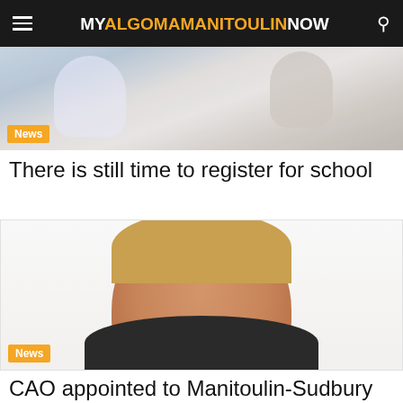MYALGOMAMANITOULINNOW
[Figure (photo): Photo of people in a classroom or school setting]
There is still time to register for school
[Figure (photo): Portrait photo of a smiling middle-aged woman with short blonde hair in a dark blazer]
CAO appointed to Manitoulin-Sudbury